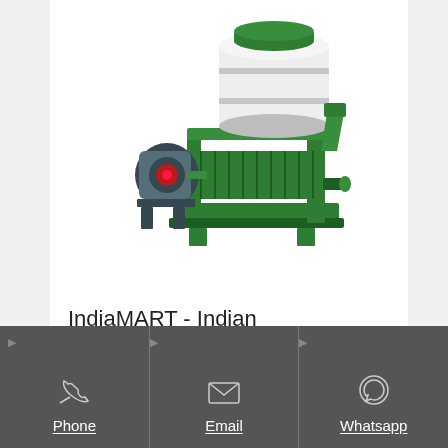[Figure (photo): Green industrial oil expeller / cattle feed machine with motor attachment, photographed on white background]
IndiaMART - Indian Manufacturers Suppliers Exporters Directory, India
Cattle Feed Machine. Oil
[Figure (infographic): Dark grey bottom action bar with three buttons: Phone (telephone icon), Email (envelope icon), Whatsapp (WhatsApp icon)]